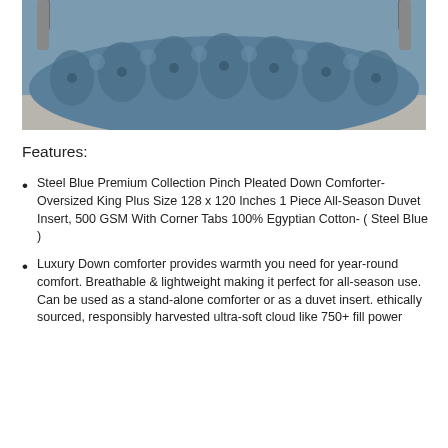[Figure (photo): A steel blue pinch pleated down comforter draped over a bed, photographed from the front. The comforter features a diamond pinch-pleat pattern. A metal bed frame is visible at the top. The comforter rests on a light gray surface.]
Features:
Steel Blue Premium Collection Pinch Pleated Down Comforter- Oversized King Plus Size 128 x 120 Inches 1 Piece All-Season Duvet Insert, 500 GSM With Corner Tabs 100% Egyptian Cotton- ( Steel Blue )
Luxury Down comforter provides warmth you need for year-round comfort. Breathable & lightweight making it perfect for all-season use. Can be used as a stand-alone comforter or as a duvet insert. ethically sourced, responsibly harvested ultra-soft cloud like 750+ fill power